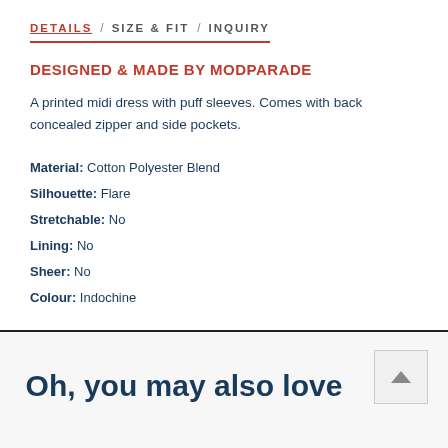DETAILS / SIZE & FIT / INQUIRY
DESIGNED & MADE BY MODPARADE
A printed midi dress with puff sleeves. Comes with back concealed zipper and side pockets.
Material: Cotton Polyester Blend
Silhouette: Flare
Stretchable: No
Lining: No
Sheer: No
Colour: Indochine
Oh, you may also love these